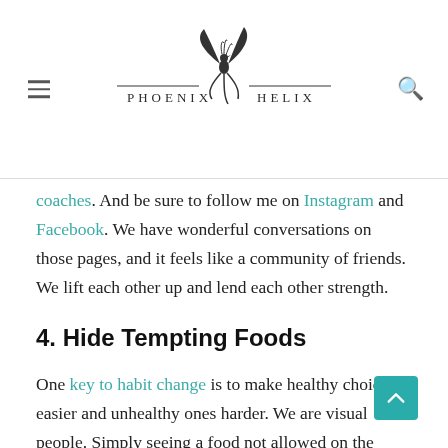Phoenix Helix logo with navigation
coaches. And be sure to follow me on Instagram and Facebook. We have wonderful conversations on those pages, and it feels like a community of friends. We lift each other up and lend each other strength.
4. Hide Tempting Foods
One key to habit change is to make healthy choices easier and unhealthy ones harder. We are visual people. Simply seeing a food not allowed on the protocol can inspire a food craving and bring up feelings of deprivation. The good news: you don't